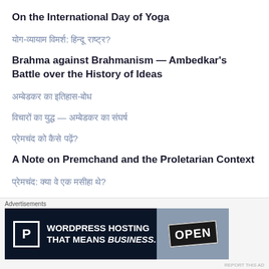On the International Day of Yoga
योग-व्यायाम विमर्श: हिन्दू राष्ट्र?
Brahma against Brahmanism — Ambedkar's Battle over the History of Ideas
अम्बेडकर का इतिहास-बोध
विचारों का युद्ध — अम्बेडकर का संघर्ष
प्रेमचंद को कैसे पढ़ें?
A Note on Premchand and the Proletarian Context
प्रेमचंद: क्या वे एक मसीहा थे?
Advertisements
[Figure (other): WordPress Hosting advertisement banner: dark navy background with P logo in white box, text 'WORDPRESS HOSTING THAT MEANS BUSINESS.' and photo of OPEN sign on right side]